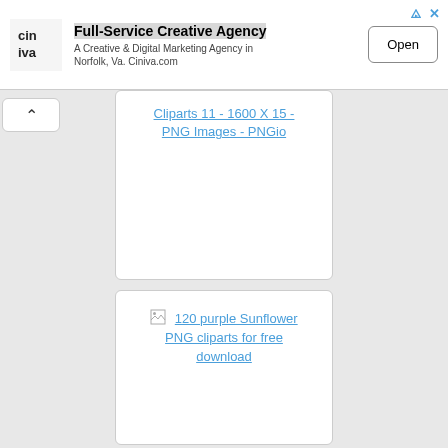[Figure (screenshot): Ad banner for Ciniva - Full-Service Creative Agency with logo, text, and Open button]
[Figure (screenshot): Web page screenshot showing image search results with up arrow navigation button and two content cards with links]
Cliparts 11 - 1600 X 15 - PNG Images - PNGio
120 purple Sunflower PNG cliparts for free download